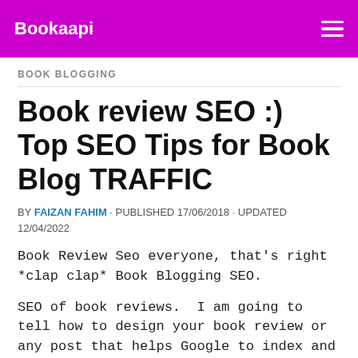Bookaapi
BOOK BLOGGING
Book review SEO :) Top SEO Tips for Book Blog TRAFFIC
BY FAIZAN FAHIM · PUBLISHED 17/06/2018 · UPDATED 12/04/2022
Book Review Seo everyone, that's right *clap clap* Book Blogging SEO.
SEO of book reviews.  I am going to tell how to design your book review or any post that helps Google to index and rank it. There are some points you have to implement, and it will be done. You do